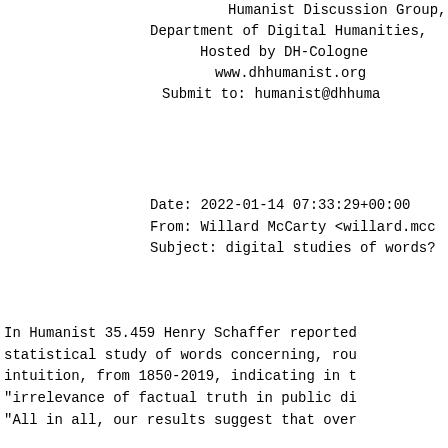Humanist Discussion Group, Department of Digital Humanities, Hosted by DH-Cologne www.dhhumanist.org Submit to: humanist@dhhuma
Date: 2022-01-14 07:33:29+00:00
From: Willard McCarty <willard.mcc
Subject: digital studies of words?
In Humanist 35.459 Henry Schaffer reported statistical study of words concerning, rou intuition, from 1850-2019, indicating in t "irrelevance of factual truth in public di "All in all, our results suggest that over